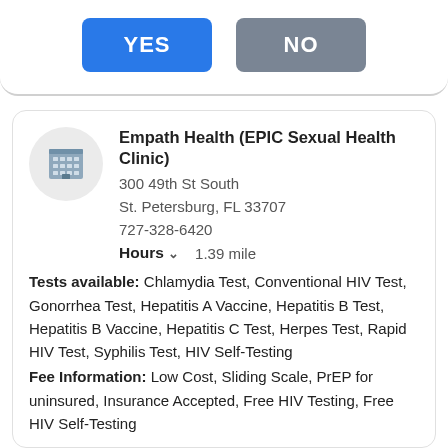YES
NO
Empath Health (EPIC Sexual Health Clinic)
300 49th St South
St. Petersburg, FL 33707
727-328-6420
Hours  1.39 mile
Tests available: Chlamydia Test, Conventional HIV Test, Gonorrhea Test, Hepatitis A Vaccine, Hepatitis B Test, Hepatitis B Vaccine, Hepatitis C Test, Herpes Test, Rapid HIV Test, Syphilis Test, HIV Self-Testing
Fee Information: Low Cost, Sliding Scale, PrEP for uninsured, Insurance Accepted, Free HIV Testing, Free HIV Self-Testing